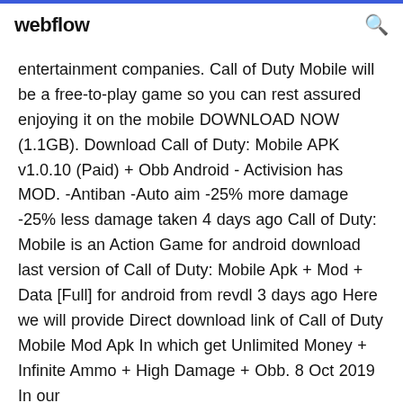webflow
entertainment companies. Call of Duty Mobile will be a free-to-play game so you can rest assured enjoying it on the mobile DOWNLOAD NOW (1.1GB). Download Call of Duty: Mobile APK v1.0.10 (Paid) + Obb Android - Activision has MOD. -Antiban -Auto aim -25% more damage -25% less damage taken 4 days ago Call of Duty: Mobile is an Action Game for android download last version of Call of Duty: Mobile Apk + Mod + Data [Full] for android from revdl 3 days ago Here we will provide Direct download link of Call of Duty Mobile Mod Apk In which get Unlimited Money + Infinite Ammo + High Damage + Obb. 8 Oct 2019 In our